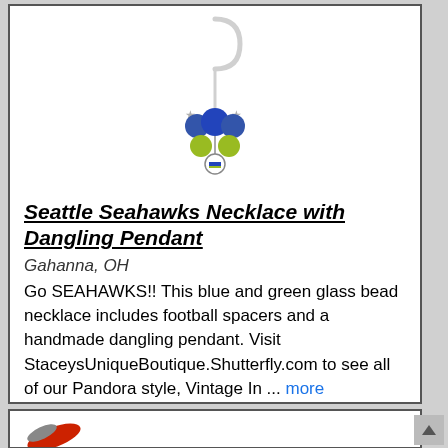[Figure (photo): Product photo of a Seattle Seahawks necklace with dangling pendant, shown on a white display hook. The necklace features blue and green glass beads with football spacers and a small dangling pendant at the bottom.]
Seattle Seahawks Necklace with Dangling Pendant
Gahanna, OH
Go SEAHAWKS!! This blue and green glass bead necklace includes football spacers and a handmade dangling pendant. Visit StaceysUniqueBoutique.Shutterfly.com to see all of our Pandora style, Vintage In ... more
1 @ $99.00
[Figure (photo): Partial view of another product listing below, showing the beginning of a logo or image.]